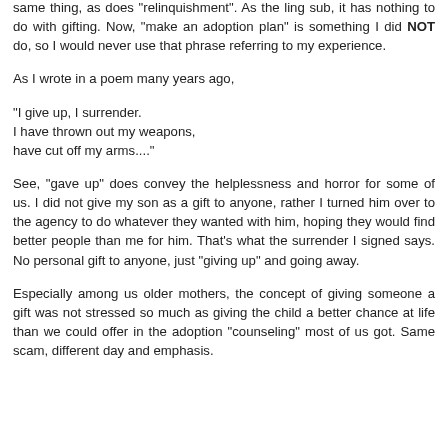same thing, as does "relinquishment". As the ling sub, it has nothing to do with gifting. Now, "make an adoption plan" is something I did NOT do, so I would never use that phrase referring to my experience.
As I wrote in a poem many years ago,
"I give up, I surrender.
I have thrown out my weapons,
have cut off my arms...."
See, "gave up" does convey the helplessness and horror for some of us. I did not give my son as a gift to anyone, rather I turned him over to the agency to do whatever they wanted with him, hoping they would find better people than me for him. That's what the surrender I signed says. No personal gift to anyone, just "giving up" and going away.
Especially among us older mothers, the concept of giving someone a gift was not stressed so much as giving the child a better chance at life than we could offer in the adoption "counseling" most of us got. Same scam, different day and emphasis.